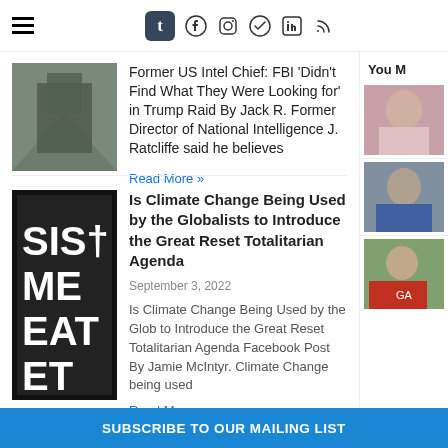Navigation and social icons header bar
Former US Intel Chief: FBI 'Didn't Find What They Were Looking for' in Trump Raid By Jack R. Former Director of National Intelligence J. Ratcliffe said he believes
Read More »
Is Climate Change Being Used by the Globalists to Introduce the Great Reset Totalitarian Agenda
September 3, 2022
Is Climate Change Being Used by the Glob to Introduce the Great Reset Totalitarian Agenda Facebook Post By Jamie McIntyr. Climate Change being used
Read More »
You M
SUBSCRIBE TO OUR MAILING LIST